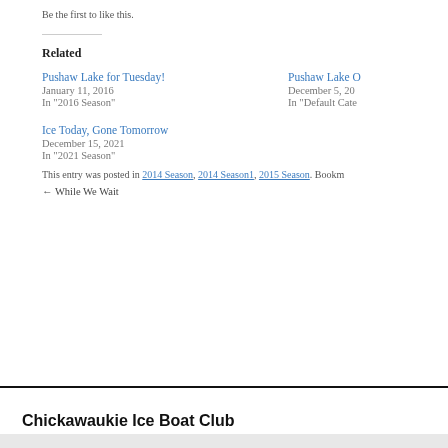Be the first to like this.
Related
Pushaw Lake for Tuesday!
January 11, 2016
In "2016 Season"
Pushaw Lake O
December 5, 20
In "Default Cate
Ice Today, Gone Tomorrow
December 15, 2021
In "2021 Season"
This entry was posted in 2014 Season, 2014 Season1, 2015 Season. Bookm
← While We Wait
Chickawaukie Ice Boat Club